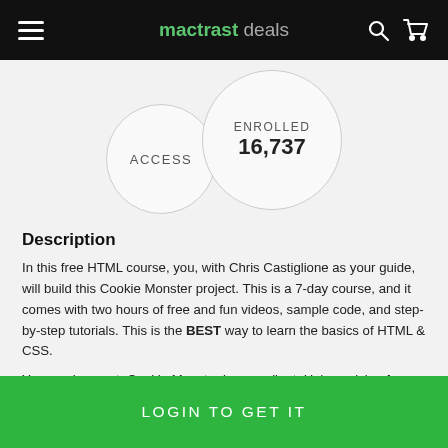mactrast deals
[Figure (infographic): Two overlapping circles: one labeled ACCESS, one labeled ENROLLED 16,737]
Description
In this free HTML course, you, with Chris Castiglione as your guide, will build this Cookie Monster project. This is a 7-day course, and it comes with two hours of free and fun videos, sample code, and step-by-step tutorials. This is the BEST way to learn the basics of HTML & CSS.
Your assignment: Cookie Monster is your client. He's applying for a job. You have seven days to launch a new website for him using only HTML & CSS. You've been given his headshot, bio at Sesame Street, and Cookie Monster's Saturday Night Live Demo Reel. In addition,
LOGIN TO GET IT